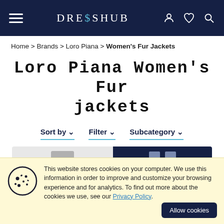DRES$HUB
Home > Brands > Loro Piana > Women's Fur Jackets
Loro Piana Women's Fur jackets
Sort by ∨   Filter ∨   Subcategory ∨
2 Products
This website stores cookies on your computer. We use this information in order to improve and customize your browsing experience and for analytics. To find out more about the cookies we use, see our Privacy Policy.